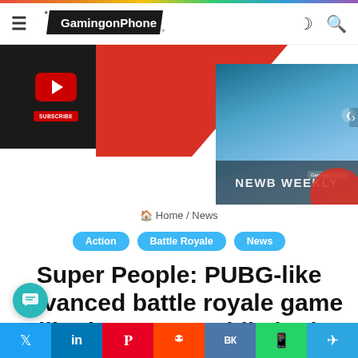GamingonPhone
[Figure (screenshot): Website banner area with YouTube subscribe thumbnail on the left with red diagonal background, and a gaming news image on the right with red circle and arrow navigation]
Home / News
Action
Battle Royale
News
Super People: PUBG-like advanced battle royale game will release on mobile in the future